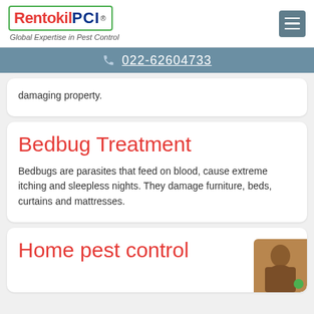Rentokil PCI® — Global Expertise in Pest Control
022-62604733
damaging property.
Bedbug Treatment
Bedbugs are parasites that feed on blood, cause extreme itching and sleepless nights. They damage furniture, beds, curtains and mattresses.
Home pest control